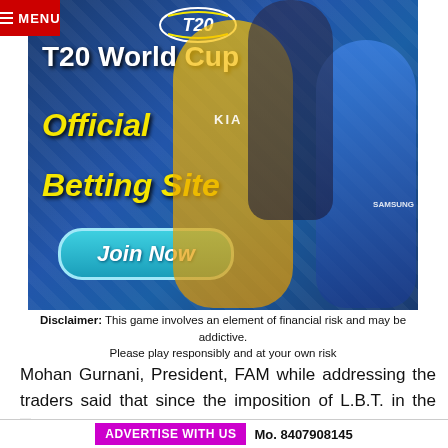[Figure (photo): T20 World Cup Official Betting Site advertisement banner featuring cricket players in yellow and blue jerseys with 'Join Now' button]
Disclaimer: This game involves an element of financial risk and may be addictive. Please play responsibly and at your own risk
Mohan Gurnani, President, FAM while addressing the traders said that since the imposition of L.B.T. in the State, the traders from across the dis...
ADVERTISE WITH US  Mo. 8407908145